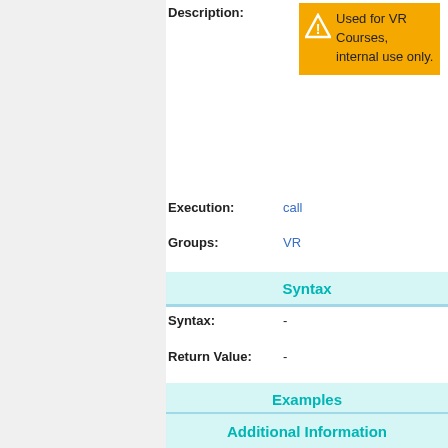Description:
[Figure (infographic): Warning box with orange background, triangle warning icon, and text: Used for VR Courses, internal use only.]
Execution: call
Groups: VR
Syntax
Syntax: -
Return Value: -
Examples
Example 1: -
Additional Information